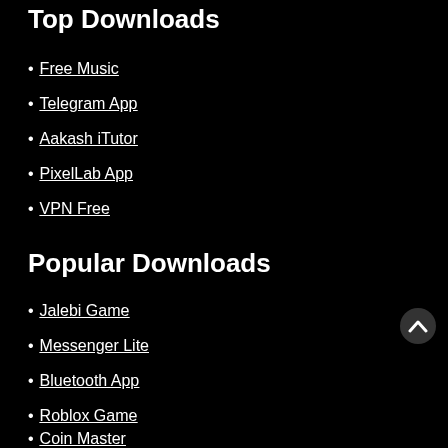Top Downloads
Free Music
Telegram App
Aakash iTutor
PixelLab App
VPN Free
Popular Downloads
Jalebi Game
Messenger Lite
Bluetooth App
Roblox Game
Coin Master